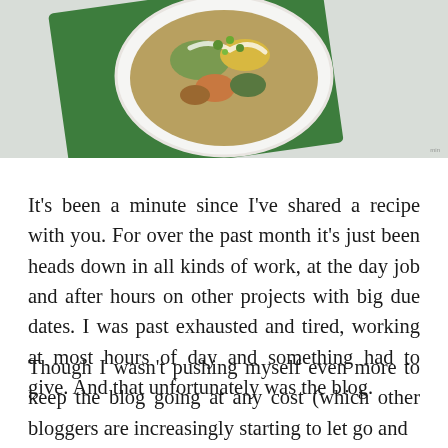[Figure (photo): A white bowl filled with a grain and vegetable dish (quinoa salad with colorful vegetables and dressing), placed on a green cloth/napkin on a light grey surface, photographed from above.]
It’s been a minute since I’ve shared a recipe with you. For over the past month it’s just been heads down in all kinds of work, at the day job and after hours on other projects with big due dates. I was past exhausted and tired, working at most hours of day and something had to give. And that unfortunately was the blog.
Though I wasn’t pushing myself even more to keep the blog going at any cost (which other bloggers are increasingly starting to let go and